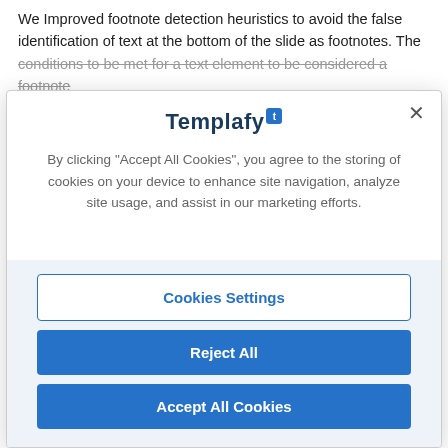We Improved footnote detection heuristics to avoid the false identification of text at the bottom of the slide as footnotes. The conditions to be met for a text element to be considered a footnote
[Figure (screenshot): Cookie consent modal dialog from Templafy website. Contains Templafy logo at top, descriptive text about cookies, and three buttons: 'Cookies Settings' (outline), 'Reject All' (solid blue), 'Accept All Cookies' (solid blue).]